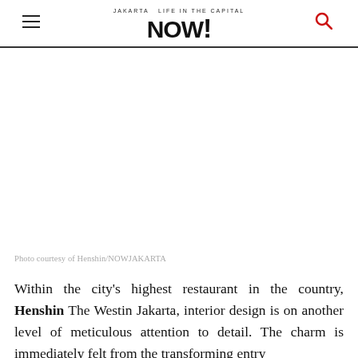JAKARTA NOW!
[Figure (photo): Blank/white image area representing a photo of Henshin restaurant interior at The Westin Jakarta]
Photo courtesy of Henshin/NOWJAKARTA
Within the city's highest restaurant in the country, Henshin The Westin Jakarta, interior design is on another level of meticulous attention to detail. The charm is immediately felt from the transforming entry